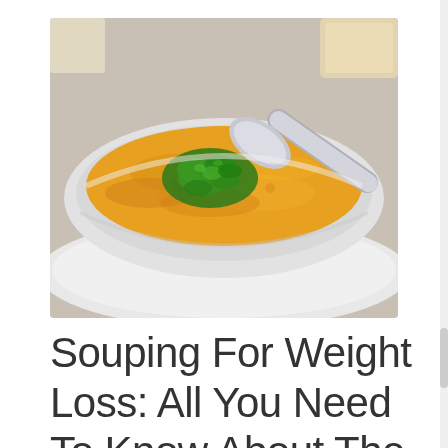[Figure (photo): A white bowl of orange/golden pureed soup (likely carrot or butternut squash soup) garnished with fresh green herbs (cilantro/parsley) and a silver spoon resting in it, on a white plate, with bread visible in the background.]
Souping For Weight Loss: All You Need To Know About The Hottest Soup-Only Diet